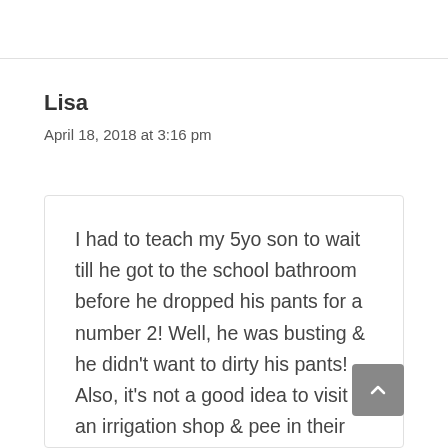Lisa
April 18, 2018 at 3:16 pm
I had to teach my 5yo son to wait till he got to the school bathroom before he dropped his pants for a number 2! Well, he was busting & he didn't want to dirty his pants! Also, it's not a good idea to visit an irrigation shop & pee in their indoor water feature! Thankfully staff & customers saw the